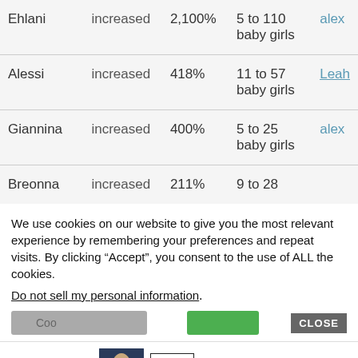| Name | Direction | Change | Range | Link |
| --- | --- | --- | --- | --- |
| Ehlani | increased | 2,100% | 5 to 110 baby girls | alex |
| Alessi | increased | 418% | 11 to 57 baby girls | Leah |
| Giannina | increased | 400% | 5 to 25 baby girls | alex |
| Breonna | increased | 211% | 9 to 28 |  |
We use cookies on our website to give you the most relevant experience by remembering your preferences and repeat visits. By clicking “Accept”, you consent to the use of ALL the cookies.
Do not sell my personal information.
[Figure (screenshot): Cookie consent buttons (gray and green) with CLOSE button, and a Bloomingdale's advertisement banner at bottom]